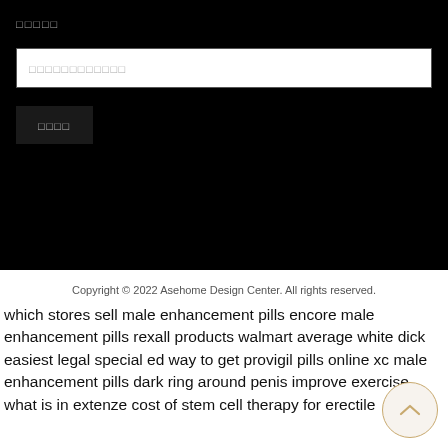□□□□□
□□□□□□□□□□□□
□□□□
Copyright © 2022 Asehome Design Center. All rights reserved.
which stores sell male enhancement pills encore male enhancement pills rexall products walmart average white dick easiest legal special ed way to get provigil pills online xc male enhancement pills dark ring around penis improve exercise what is in extenze cost of stem cell therapy for erectile